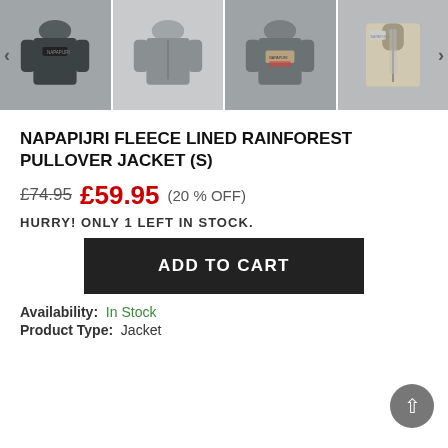[Figure (photo): Four thumbnail images of a Napapijri fleece lined rainforest pullover jacket in grey, shown from different angles: front full view, front plain view, back with branding patch, and interior/collar detail. Navigation arrows on left and right.]
NAPAPIJRI FLEECE LINED RAINFOREST PULLOVER JACKET (S)
£74.95 £59.95 (20 % OFF)
HURRY! ONLY 1 LEFT IN STOCK.
ADD TO CART
Availability: In Stock
Product Type: Jacket